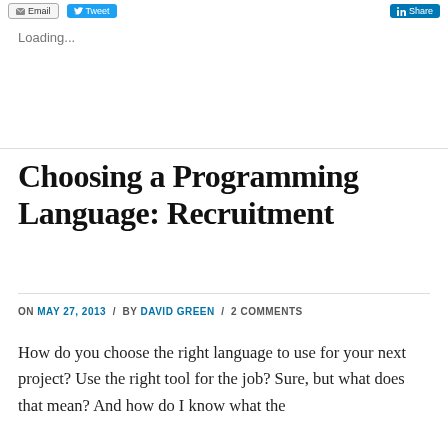Email / Tweet / Share
Loading...
Choosing a Programming Language: Recruitment
ON MAY 27, 2013 / BY DAVID GREEN / 2 COMMENTS
How do you choose the right language to use for your next project? Use the right tool for the job? Sure, but what does that mean? And how do I know what the